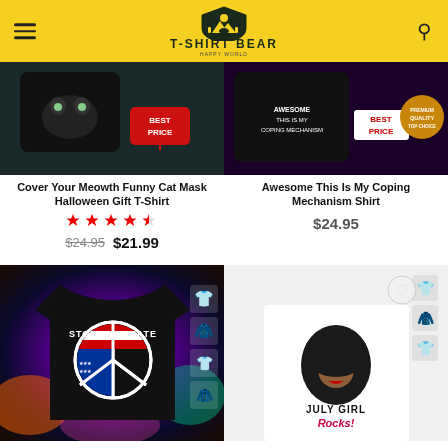T-SHIRT BEAR
[Figure (photo): Cover Your Meowth Funny Cat Mask Halloween Gift T-Shirt product image with 'Best Price' tag]
Cover Your Meowth Funny Cat Mask Halloween Gift T-Shirt
★★★★½  $24.95  $21.99
[Figure (photo): Awesome This Is My Coping Mechanism Shirt product image with 'Best Price' badge]
Awesome This Is My Coping Mechanism Shirt
$24.95
[Figure (photo): Stop AAPI Hate t-shirt with peace sign in American flag design on colorful galaxy background]
[Figure (photo): July Girl Rocks! t-shirt worn by man, with afro woman graphic and red cursive text]